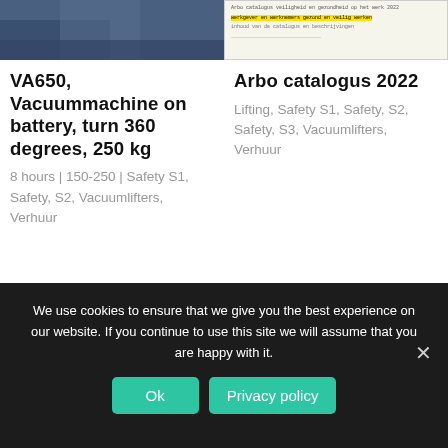[Figure (photo): Partial photo of a person in dark clothing in front of a brick wall]
[Figure (screenshot): Thumbnail of Arbo catalogus 2022 document with yellow highlighted text]
VA650, Vacuummachine on battery, turn 360 degrees, 250 kg
Arbo catalogus 2022
8 hours | 150-250 | Safety S1, Safety, S2, Vacuumlifters, Verhuur
Lifting, Safety S1, Safety, S2, Safety, S3, Vacuumlifters, Verhuur
We use cookies to ensure that we give you the best experience on our website. If you continue to use this site we will assume that you are happy with it.